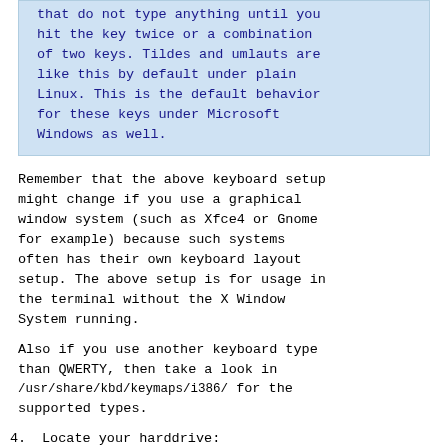that do not type anything until you hit the key twice or a combination of two keys. Tildes and umlauts are like this by default under plain Linux. This is the default behavior for these keys under Microsoft Windows as well.
Remember that the above keyboard setup might change if you use a graphical window system (such as Xfce4 or Gnome for example) because such systems often has their own keyboard layout setup. The above setup is for usage in the terminal without the X Window System running.
Also if you use another keyboard type than QWERTY, then take a look in /usr/share/kbd/keymaps/i386/ for the supported types.
4.  Locate your harddrive: